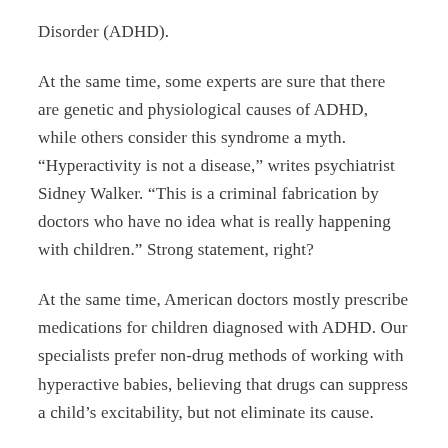Disorder (ADHD).
At the same time, some experts are sure that there are genetic and physiological causes of ADHD, while others consider this syndrome a myth. “Hyperactivity is not a disease,” writes psychiatrist Sidney Walker. “This is a criminal fabrication by doctors who have no idea what is really happening with children.” Strong statement, right?
At the same time, American doctors mostly prescribe medications for children diagnosed with ADHD. Our specialists prefer non-drug methods of working with hyperactive babies, believing that drugs can suppress a child’s excitability, but not eliminate its cause.